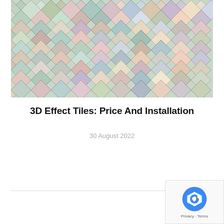[Figure (photo): Colorful diamond/rhombus-shaped 3D effect tiles arranged in overlapping rows, showing pastel and muted colors including pink, green, blue, yellow, brown, and cream.]
3D Effect Tiles: Price And Installation
30 August 2022